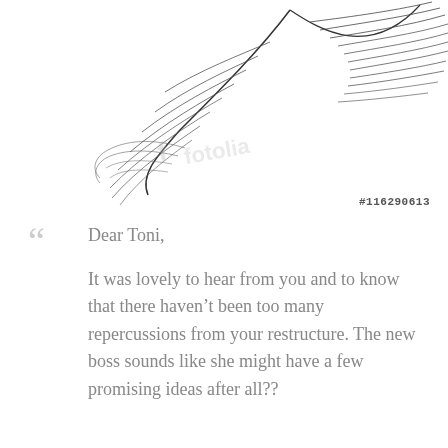[Figure (illustration): A delicate hand-drawn feather illustration in black and white outlines, positioned in the upper portion of the page, with a watermark stock image number overlay.]
#116290613
Dear Toni,

It was lovely to hear from you and to know that there haven't been too many repercussions from your restructure. The new boss sounds like she might have a few promising ideas after all??